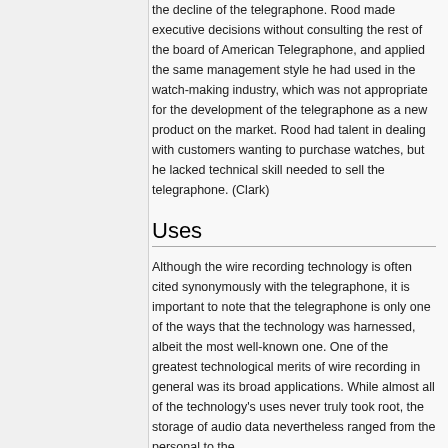the decline of the telegraphone. Rood made executive decisions without consulting the rest of the board of American Telegraphone, and applied the same management style he had used in the watch-making industry, which was not appropriate for the development of the telegraphone as a new product on the market. Rood had talent in dealing with customers wanting to purchase watches, but he lacked technical skill needed to sell the telegraphone. (Clark)
Uses
Although the wire recording technology is often cited synonymously with the telegraphone, it is important to note that the telegraphone is only one of the ways that the technology was harnessed, albeit the most well-known one. One of the greatest technological merits of wire recording in general was its broad applications. While almost all of the technology's uses never truly took root, the storage of audio data nevertheless ranged from the personal to the